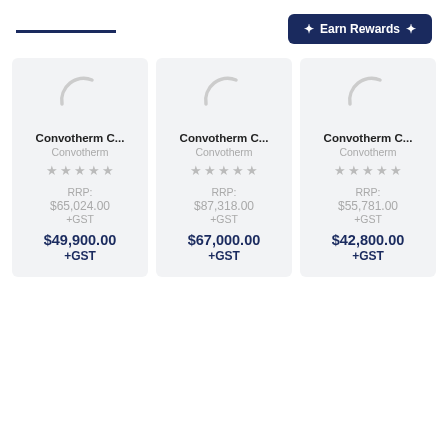[Figure (screenshot): Page header with a dark navy horizontal line on the left and an 'Earn Rewards' button on the right]
Convotherm C...
Convotherm
RRP:
$65,024.00
+GST
$49,900.00
+GST
Convotherm C...
Convotherm
RRP:
$87,318.00
+GST
$67,000.00
+GST
Convotherm C...
Convotherm
RRP:
$55,781.00
+GST
$42,800.00
+GST